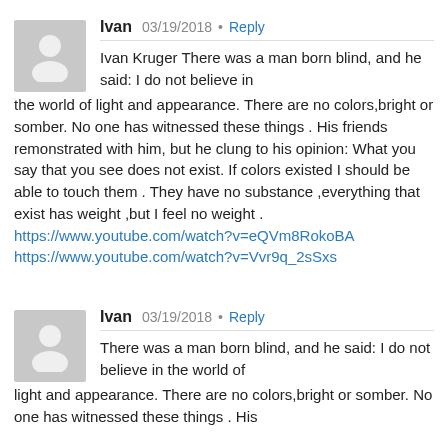Ivan   03/19/2018 • Reply
Ivan Kruger There was a man born blind, and he said: I do not believe in the world of light and appearance. There are no colors,bright or somber. No one has witnessed these things . His friends remonstrated with him, but he clung to his opinion: What you say that you see does not exist. If colors existed I should be able to touch them . They have no substance ,everything that exist has weight ,but I feel no weight . https://www.youtube.com/watch?v=eQVm8RokoBA https://www.youtube.com/watch?v=Vvr9q_2sSxs
Ivan   03/19/2018 • Reply
There was a man born blind, and he said: I do not believe in the world of light and appearance. There are no colors,bright or somber. No one has witnessed these things . His